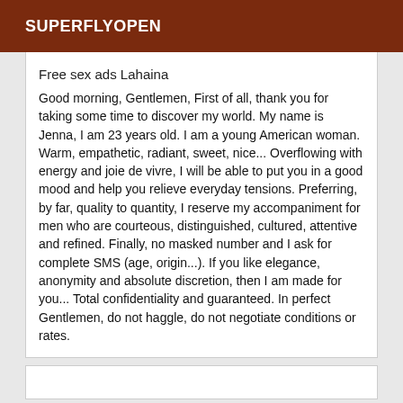SUPERFLYOPEN
Free sex ads Lahaina
Good morning, Gentlemen, First of all, thank you for taking some time to discover my world. My name is Jenna, I am 23 years old. I am a young American woman. Warm, empathetic, radiant, sweet, nice... Overflowing with energy and joie de vivre, I will be able to put you in a good mood and help you relieve everyday tensions. Preferring, by far, quality to quantity, I reserve my accompaniment for men who are courteous, distinguished, cultured, attentive and refined. Finally, no masked number and I ask for complete SMS (age, origin...). If you like elegance, anonymity and absolute discretion, then I am made for you... Total confidentiality and guaranteed. In perfect Gentlemen, do not haggle, do not negotiate conditions or rates.